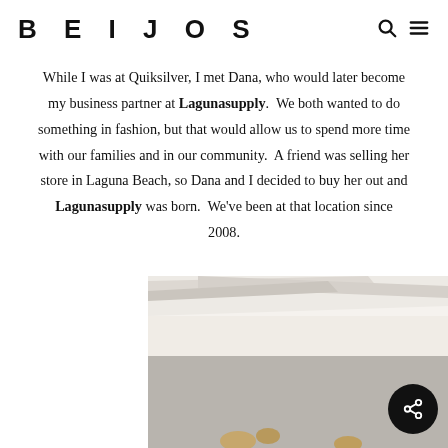BEIJOS
While I was at Quiksilver, I met Dana, who would later become my business partner at Lagunasupply.  We both wanted to do something in fashion, but that would allow us to spend more time with our families and in our community.  A friend was selling her store in Laguna Beach, so Dana and I decided to buy her out and Lagunasupply was born.  We’ve been at that location since 2008.
[Figure (photo): Interior photo of a bright white store with diagonal beam ceiling structure and hanging golden accessories visible at bottom]